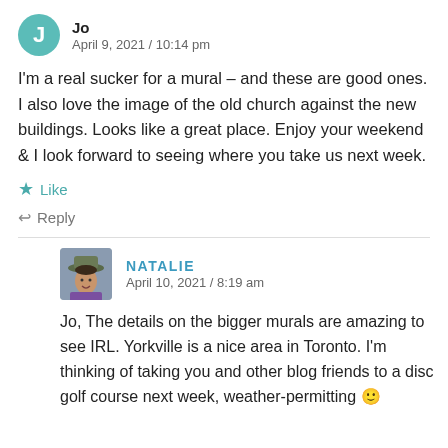Jo
April 9, 2021 / 10:14 pm
I'm a real sucker for a mural – and these are good ones. I also love the image of the old church against the new buildings. Looks like a great place. Enjoy your weekend & I look forward to seeing where you take us next week.
★ Like
↩ Reply
NATALIE
April 10, 2021 / 8:19 am
Jo, The details on the bigger murals are amazing to see IRL. Yorkville is a nice area in Toronto. I'm thinking of taking you and other blog friends to a disc golf course next week, weather-permitting 🙂